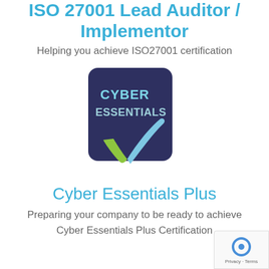ISO 27001 Lead Auditor / Implementor
Helping you achieve ISO27001 certification
[Figure (logo): Cyber Essentials logo: dark navy rounded square with 'CYBER ESSENTIALS' text in light blue/white and a checkmark in blue and green]
Cyber Essentials Plus
Preparing your company to be ready to achieve Cyber Essentials Plus Certification